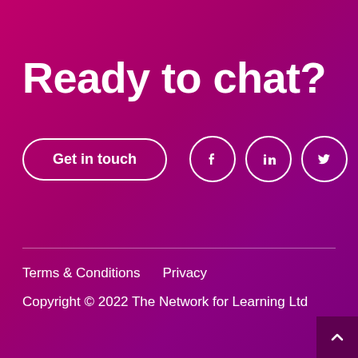Ready to chat?
Get in touch
[Figure (logo): Facebook icon in white circle outline]
[Figure (logo): LinkedIn icon in white circle outline]
[Figure (logo): Twitter icon in white circle outline]
Terms & Conditions   Privacy
Copyright © 2022 The Network for Learning Ltd